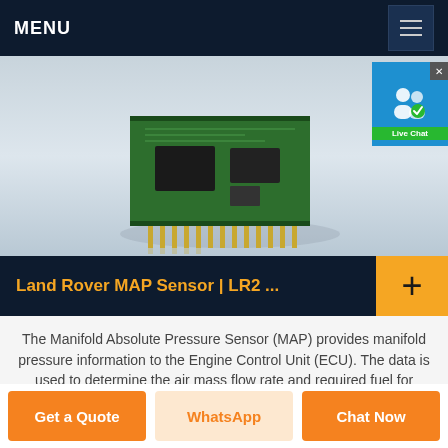MENU
[Figure (photo): PCB circuit board / sensor module on a light gray background with metallic pins]
[Figure (other): Live Chat badge with user icon and green label]
Land Rover MAP Sensor | LR2 ...
The Manifold Absolute Pressure Sensor (MAP) provides manifold pressure information to the Engine Control Unit (ECU). The data is used to determine the air mass flow rate and required fuel for optimum combustion and ignition
Get a Quote | WhatsApp | Chat Now